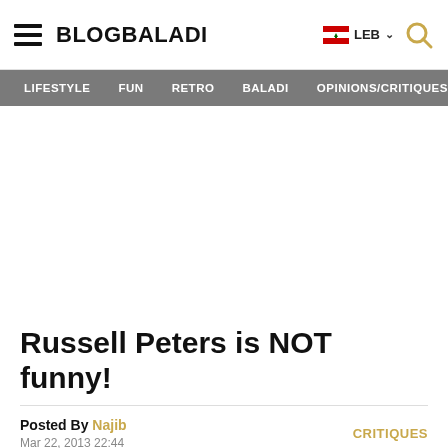BLOGBALADI | LEB | Navigation: LIFESTYLE FUN RETRO BALADI OPINIONS/CRITIQUES
Russell Peters is NOT funny!
Posted By Najib
CRITIQUES